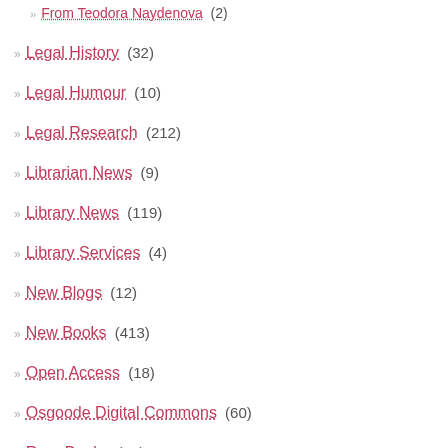From Teodora Naydenova (2)
Legal History (32)
Legal Humour (10)
Legal Research (212)
Librarian News (9)
Library News (119)
Library Services (4)
New Blogs (12)
New Books (413)
Open Access (18)
Osgoode Digital Commons (60)
Rare Books (24)